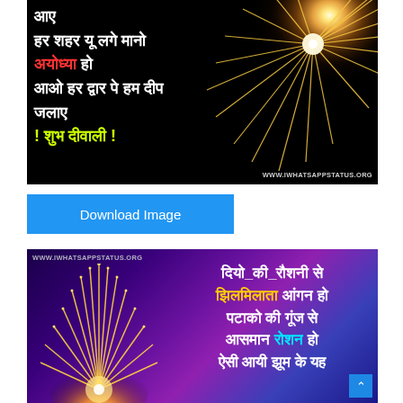[Figure (illustration): Diwali greeting image with fireworks on black background and Hindi text. Text reads: आए हर शहर यू लगे मानो अयोध्या हो आओ हर द्वार पे हम दीप जलाए ! शुभ दीवाली ! Watermark: WWW.IWHATSAPPSTATUS.ORG]
Download Image
[Figure (illustration): Diwali greeting image with purple gradient background, golden fireworks on left, and Hindi text on right. Text reads: दियो_की_रौशनी से झिलमिलाता आंगन हो पटाको की गूंज से आसमान रोशन हो ऐसी आयी झूम के यह. Watermark: WWW.IWHATSAPPSTATUS.ORG]